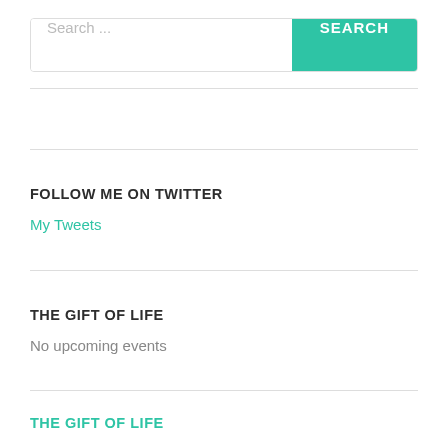[Figure (screenshot): Search bar with text input field showing placeholder 'Search ...' and a teal 'SEARCH' button on the right]
FOLLOW ME ON TWITTER
My Tweets
THE GIFT OF LIFE
No upcoming events
THE GIFT OF LIFE